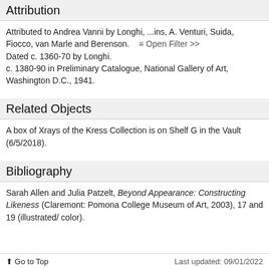Attribution
Attributed to Andrea Vanni by Longhi, ...ins, A. Venturi, Suida, Fiocco, van Marle and Berenson.    ≡ Open Filter >>  Dated c. 1360-70 by Longhi. c. 1380-90 in Preliminary Catalogue, National Gallery of Art, Washington D.C., 1941.
Related Objects
A box of Xrays of the Kress Collection is on Shelf G in the Vault (6/5/2018).
Bibliography
Sarah Allen and Julia Patzelt, Beyond Appearance: Constructing Likeness (Claremont: Pomona College Museum of Art, 2003), 17 and 19 (illustrated/ color).
↑ Go to Top    Last updated: 09/01/2022